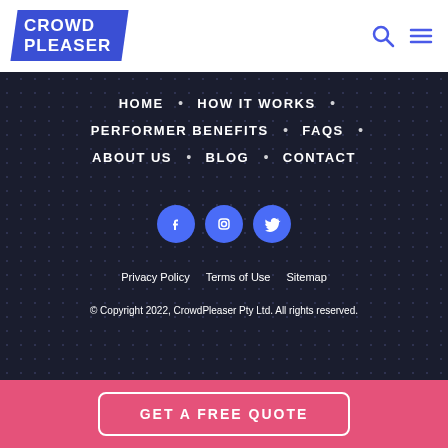[Figure (logo): CrowdPleaser logo: blue parallelogram shape with white bold uppercase text CROWD PLEASER]
Navigation header with CrowdPleaser logo, search icon, and hamburger menu icon
HOME
HOW IT WORKS
PERFORMER BENEFITS
FAQS
ABOUT US
BLOG
CONTACT
[Figure (infographic): Three blue circular social media icon buttons: Facebook (f), Instagram (camera), Twitter (bird)]
Privacy Policy   Terms of Use   Sitemap
© Copyright 2022, CrowdPleaser Pty Ltd. All rights reserved.
GET A FREE QUOTE